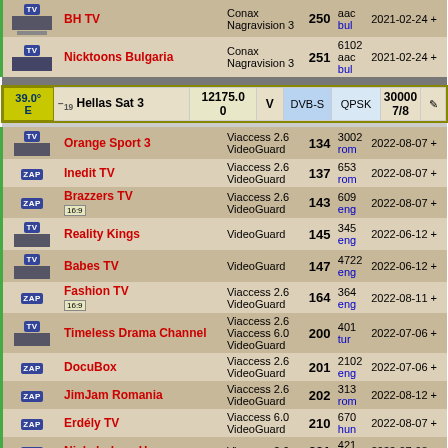| Badge/Icon | Channel Name | Encryption | Ch# | PID/Lang | Date/Info |
| --- | --- | --- | --- | --- | --- |
| TV | BH TV | Conax Nagravision 3 | 250 | aac
bul | 2021-02-24 + |
| TV | Nicktoons Bulgaria | Conax Nagravision 3 | 251 | 6102
aac
bul | 2021-02-24 + |
| SAT HEADER | 39.0° E | 19 Hellas Sat 3 | 12175.0 0 | V | DVB-S | QPSK | 30000 7/8 |
| TV | Orange Sport 3 | Viaccess 2.6 VideoGuard | 134 | 3002
rom | 2022-08-07 + |
| ZAP | Inedit TV | Viaccess 2.6 VideoGuard | 137 | 653
rom | 2022-08-07 + |
| ZAP | Brazzers TV 16:9 | Viaccess 2.6 VideoGuard | 143 | 609
eng | 2022-08-07 + |
| TV | Reality Kings | VideoGuard | 145 | 345
eng | 2022-06-12 + |
| TV | Babes TV | VideoGuard | 147 | 4722
eng | 2022-06-12 + |
| ZAP | Fashion TV 16:9 | Viaccess 2.6 VideoGuard | 164 | 364
eng | 2022-08-11 + |
| TV | Timeless Drama Channel | Viaccess 2.6 Viaccess 6.0 VideoGuard | 200 | 401
tur | 2022-07-06 + |
| ZAP | DocuBox | Viaccess 2.6 VideoGuard | 201 | 2102
eng | 2022-07-06 + |
| ZAP | JimJam Romania | Viaccess 2.6 VideoGuard | 202 | 313
rom | 2022-08-12 + |
| ZAP | Erdély TV | Viaccess 6.0 VideoGuard | 210 | 670
hun | 2022-08-07 + |
| ZAP | Nickelodeon Hungary | Viaccess 2.6 | 221 | 421
rom | 2022-07-08 |